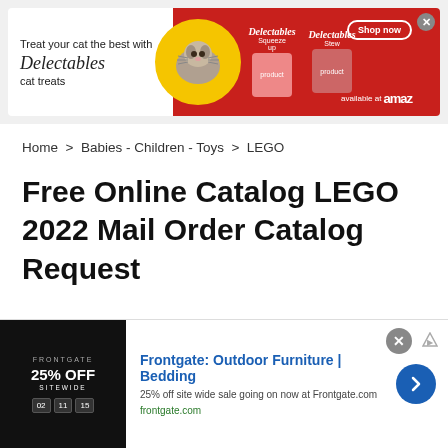[Figure (other): Delectables cat treats advertisement banner. Red background with cat in yellow heart circle. Text: 'Treat your cat the best with Delectables cat treats'. Shop now button, available at Amazon.]
Home > Babies - Children - Toys > LEGO
Free Online Catalog LEGO 2022 Mail Order Catalog Request
[Figure (other): Frontgate: Outdoor Furniture | Bedding. 25% off site wide sale going on now at Frontgate.com. frontgate.com. Shows product image with '25% OFF SITEWIDE' text on dark background with countdown timer. Blue arrow button on right.]